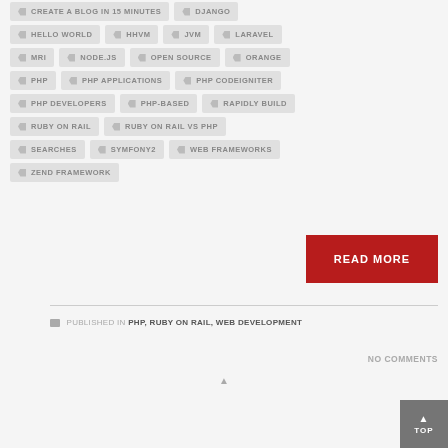CREATE A BLOG IN 15 MINUTES
DJANGO
HELLO WORLD
HHVM
JVM
LARAVEL
MRI
NODE.JS
OPEN SOURCE
ORANGE
PHP
PHP APPLICATIONS
PHP CODEIGNITER
PHP DEVELOPERS
PHP-BASED
RAPIDLY BUILD
RUBY ON RAIL
RUBY ON RAIL VS PHP
SEARCHES
SYMFONY2
WEB FRAMEWORKS
ZEND FRAMEWORK
READ MORE
PUBLISHED IN PHP, RUBY ON RAIL, WEB DEVELOPMENT
NO COMMENTS